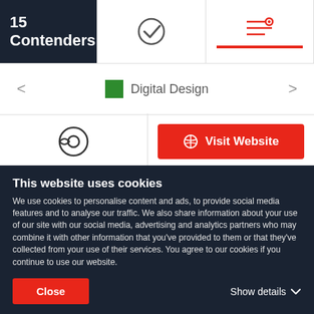15 Contenders
[Figure (screenshot): Digital Design category row with left/right navigation arrows and a green square icon]
[Figure (screenshot): Action row with a Cylance-style icon on left and a red Visit Website button on right]
[Figure (screenshot): Label Solutions company card with circular logo and bookmark icon]
This website uses cookies
We use cookies to personalise content and ads, to provide social media features and to analyse our traffic. We also share information about your use of our site with our social media, advertising and analytics partners who may combine it with other information that you've provided to them or that they've collected from your use of their services. You agree to our cookies if you continue to use our website.
Close
Show details